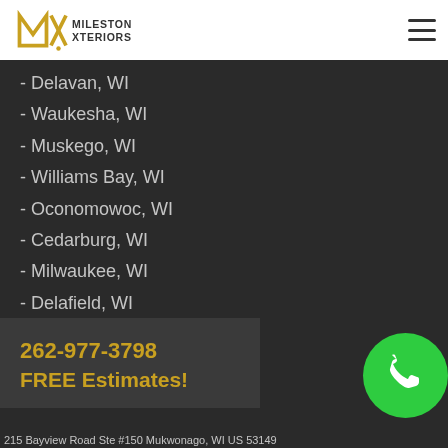[Figure (logo): Milestone Xteriors logo with gold/yellow geometric M-X mark and text MILESTONE XTERIORS]
- Delavan, WI
- Waukesha, WI
- Muskego, WI
- Williams Bay, WI
- Oconomowoc, WI
- Cedarburg, WI
- Milwaukee, WI
- Delafield, WI
- Mukwonago, WI
262-977-3798
FREE Estimates!
215 Bayview Road Ste #150 Mukwonago, WI US 53149